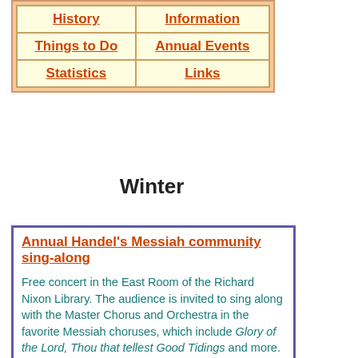| History | Information |
| Things to Do | Annual Events |
| Statistics | Links |
Winter
Annual Handel's Messiah community sing-along
Free concert in the East Room of the Richard Nixon Library. The audience is invited to sing along with the Master Chorus and Orchestra in the favorite Messiah choruses, which include Glory of the Lord, Thou that tellest Good Tidings and more.
If you are a singer, please bring your own music scores (G. Schirmer edition). Music scores are available to borrow or purchase (supplies are limited). If you aren't a singer, you're invited to sit back and enjoy the music!
LOCATION: Richard Nixon Library: